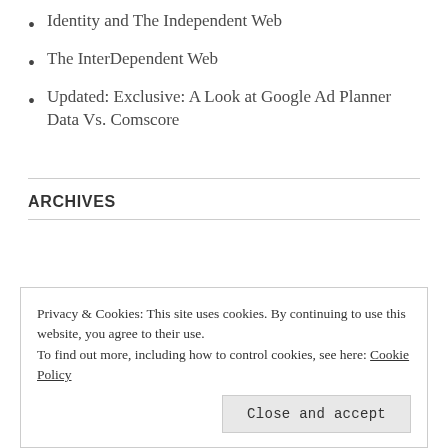Identity and The Independent Web
The InterDependent Web
Updated: Exclusive: A Look at Google Ad Planner Data Vs. Comscore
ARCHIVES
Privacy & Cookies: This site uses cookies. By continuing to use this website, you agree to their use.
To find out more, including how to control cookies, see here: Cookie Policy